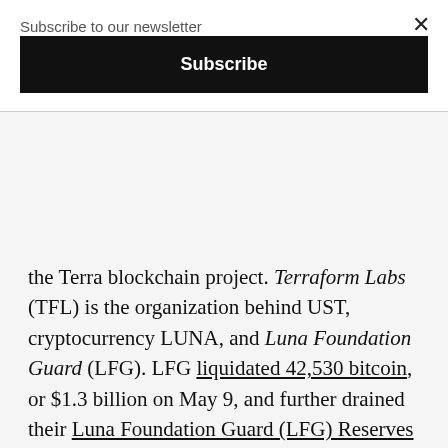Subscribe to our newsletter
Subscribe
the Terra blockchain project. Terraform Labs (TFL) is the organization behind UST, cryptocurrency LUNA, and Luna Foundation Guard (LFG). LFG liquidated 42,530 bitcoin, or $1.3 billion on May 9, and further drained their Luna Foundation Guard (LFG) Reserves from roughly 4bn to 100M. The value locked in Anchor (Terra's largest Defi protocol) dropped for $14 bn in the days that followed. The crypto market reacted with massive selloffs, and Futures